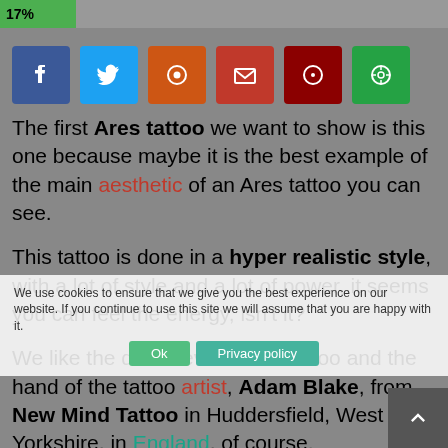[Figure (infographic): Progress bar showing 17% completion]
[Figure (infographic): Social media share buttons: Facebook, Twitter, Reddit, Email, Pinterest, WhatsApp]
The first Ares tattoo we want to show is this one because maybe it is the best example of the main aesthetic of an Ares tattoo you can see.
This tattoo is done in a hyper realistic style, with a lot of style and a lot of power, it seems you can feel the energy, isn't it?
We like the detail level of this tattoo and the hand of the tattoo artist, Adam Blake, from New Mind Tattoo in Huddersfield, West Yorkshire, in England, of course.
We use cookies to ensure that we give you the best experience on our website. If you continue to use this site we will assume that you are happy with it.